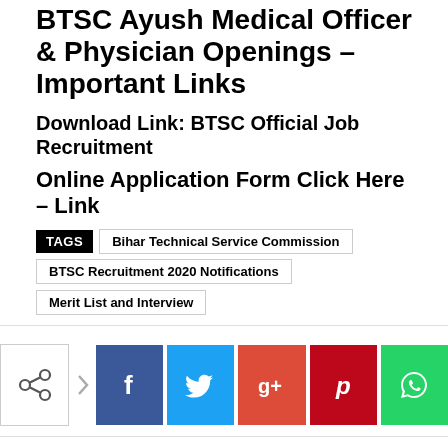BTSC Ayush Medical Officer & Physician Openings – Important Links
Download Link: BTSC Official Job Recruitment
Online Application Form Click Here – Link
TAGS  Bihar Technical Service Commission  BTSC Recruitment 2020 Notifications  Merit List and Interview
[Figure (infographic): Social share buttons row: share icon button, arrow, Facebook (blue), Twitter (light blue), Google+ (red), Pinterest (dark red), WhatsApp (green)]